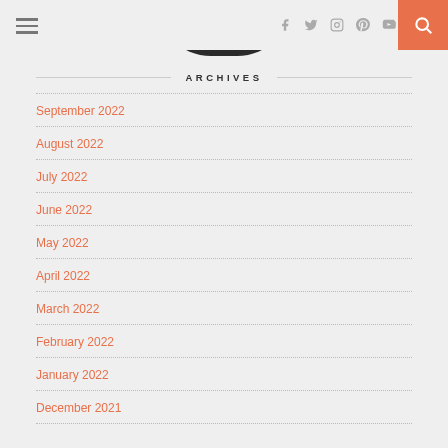Navigation bar with hamburger menu, social icons (Facebook, Twitter, Instagram, Pinterest, YouTube), and search button
[Figure (illustration): Dark rounded rectangle shape partially visible at top center of page]
ARCHIVES
September 2022
August 2022
July 2022
June 2022
May 2022
April 2022
March 2022
February 2022
January 2022
December 2021